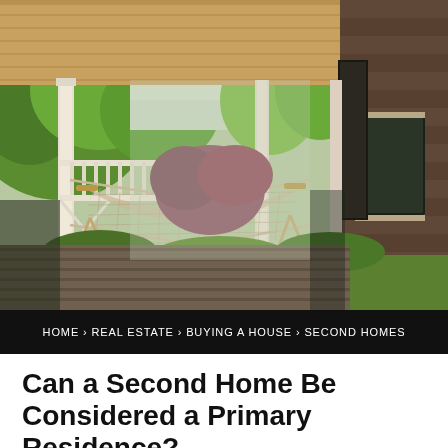[Figure (photo): A wooden porch of a house with a rope hammock strung between posts. Green trees and garden visible in the background through the porch railings. The house exterior shows cedar shingle siding on the right. Natural wood ceiling overhead.]
HOME › REAL ESTATE › BUYING A HOUSE › SECOND HOMES
Can a Second Home Be Considered a Primary Residence?